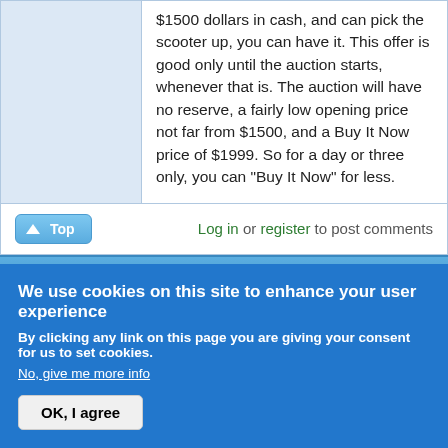$1500 dollars in cash, and can pick the scooter up, you can have it. This offer is good only until the auction starts, whenever that is. The auction will have no reserve, a fairly low opening price not far from $1500, and a Buy It Now price of $1999. So for a day or three only, you can "Buy It Now" for less.
Log in or register to post comments
Sun, 08/09/2015 - 20:35  (Reply to #248)  #249
LeftieBiker
Offline
Last seen: 7 months 3
Re: ZEV Motorcycles & Scooters
After 3 weeks and 6+ hours trying to get Ebay's way-offshore "Live Help" department
We use cookies on this site to enhance your user experience
By clicking any link on this page you are giving your consent for us to set cookies.
No, give me more info
OK, I agree